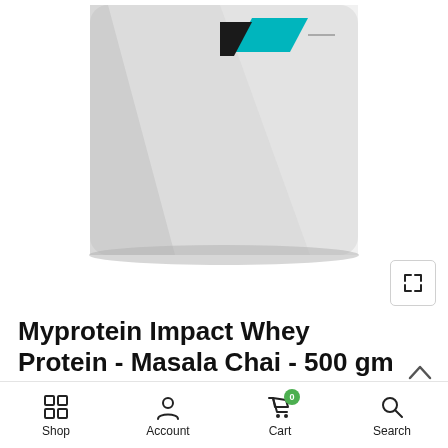[Figure (photo): Myprotein Impact Whey Protein bag in silver/white with teal and black logo, Masala Chai flavor, 500gm, shown against white background]
Myprotein Impact Whey Protein - Masala Chai - 500 gm
₹ 1,800.00  ₹ 1,260.00
Shop  Account  Cart 0  Search